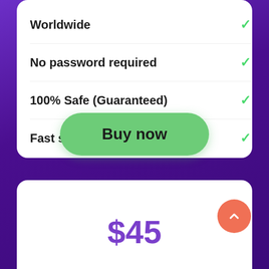Worldwide ✓
No password required ✓
100% Safe (Guaranteed) ✓
Fast service ✓
Buy now
$45